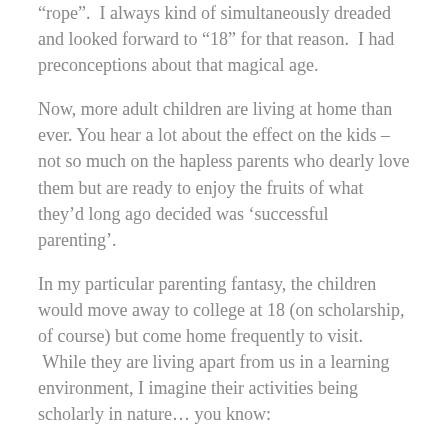“rope”. I always kind of simultaneously dreaded and looked forward to “18” for that reason. I had preconceptions about that magical age.
Now, more adult children are living at home than ever. You hear a lot about the effect on the kids – not so much on the hapless parents who dearly love them but are ready to enjoy the fruits of what they’d long ago decided was ‘successful parenting’.
In my particular parenting fantasy, the children would move away to college at 18 (on scholarship, of course) but come home frequently to visit. While they are living apart from us in a learning environment, I imagine their activities being scholarly in nature… you know:
Studying so hard that they regularly shut down the library (I like to picture them using old